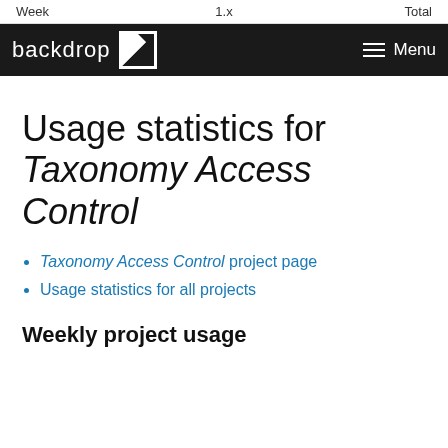Week    1.x    Total
backdrop  Menu
Usage statistics for Taxonomy Access Control
Taxonomy Access Control project page
Usage statistics for all projects
Weekly project usage